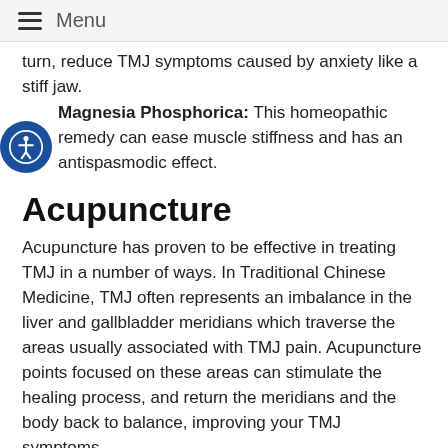Menu
turn, reduce TMJ symptoms caused by anxiety like a stiff jaw.
Magnesia Phosphorica: This homeopathic remedy can ease muscle stiffness and has an antispasmodic effect.
Acupuncture
Acupuncture has proven to be effective in treating TMJ in a number of ways. In Traditional Chinese Medicine, TMJ often represents an imbalance in the liver and gallbladder meridians which traverse the areas usually associated with TMJ pain. Acupuncture points focused on these areas can stimulate the healing process, and return the meridians and the body back to balance, improving your TMJ symptoms.